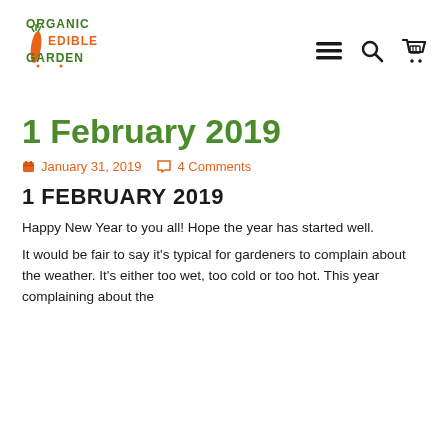Organic Edible Garden
1 February 2019
January 31, 2019   4 Comments
1 FEBRUARY 2019
Happy New Year to you all! Hope the year has started well.
It would be fair to say it's typical for gardeners to complain about the weather. It's either too wet, too cold or too hot. This year complaining about the